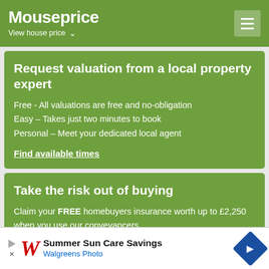Mouseprice — View house price
Request valuation from a local property expert
Free - All valuations are free and no-obligation
Easy – Takes just two minutes to book
Personal – Meet your dedicated local agent
Find available times
Take the risk out of buying
Claim your FREE homebuyers insurance worth up to £2,250 when you use our conveyancers.
View services
Mort...
Exclusi... ...ry
[Figure (screenshot): Walgreens Photo advertisement banner: Summer Sun Care Savings, Walgreens Photo, with blue diamond arrow icon]